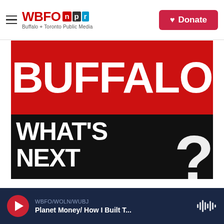WBFO npr — Buffalo + Toronto Public Media | Donate
[Figure (logo): WBFO NPR Buffalo + Toronto Public Media podcast cover art showing 'BUFFALO WHAT'S NEXT?' in large bold white text on red and black background]
WBFO/WOLN/WUBJ — Planet Money/ How I Built T...